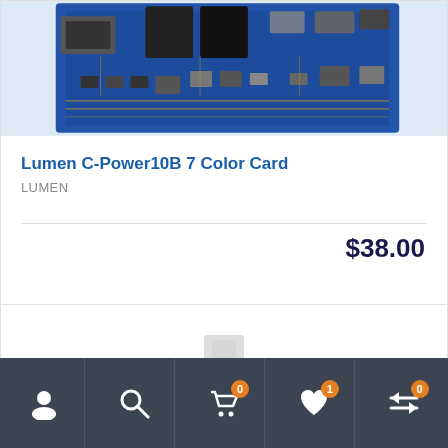[Figure (photo): Circuit board / LED controller card (Lumen C-Power10B) photographed on light blue background, showing USB port, connectors, and blue PCB with components]
Lumen C-Power10B 7 Color Card
LUMEN
$38.00
[Figure (photo): Partially visible product image at bottom of second product card]
[Figure (screenshot): Bottom navigation bar with 5 icons: user/account, search, cart (badge 0), wishlist heart (badge 1), compare arrows (badge 0)]